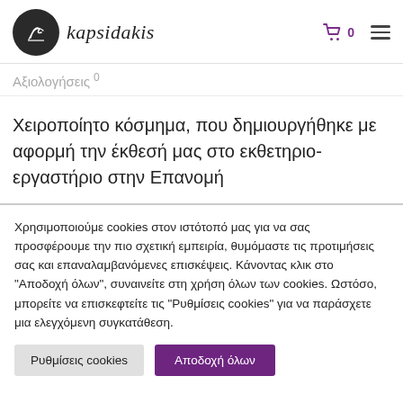kapsidakis - logo with cart icon showing 0 and hamburger menu
Αξιολογήσεις 0
Χειροποίητο κόσμημα, που δημιουργήθηκε με αφορμή την έκθεσή μας στο εκθετηριο-εργαστήριο στην Επανομή
Χρησιμοποιούμε cookies στον ιστότοπό μας για να σας προσφέρουμε την πιο σχετική εμπειρία, θυμόμαστε τις προτιμήσεις σας και επαναλαμβανόμενες επισκέψεις. Κάνοντας κλικ στο "Αποδοχή όλων", συναινείτε στη χρήση όλων των cookies. Ωστόσο, μπορείτε να επισκεφτείτε τις "Ρυθμίσεις cookies" για να παράσχετε μια ελεγχόμενη συγκατάθεση.
Ρυθμίσεις cookies | Αποδοχή όλων